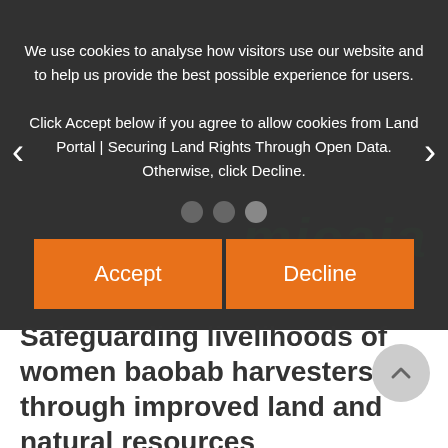[Figure (screenshot): Cookie consent overlay dialog on a dark background showing the Land Portal website. Background shows micaia logo in dark green. Three navigation dots visible. Accept and Decline buttons in orange.]
We use cookies to analyse how visitors use our website and to help us provide the best possible experience for users.
Click Accept below if you agree to allow cookies from Land Portal | Securing Land Rights Through Open Data. Otherwise, click Decline.
Safeguarding livelihoods of women baobab harvesters through improved land and natural resources